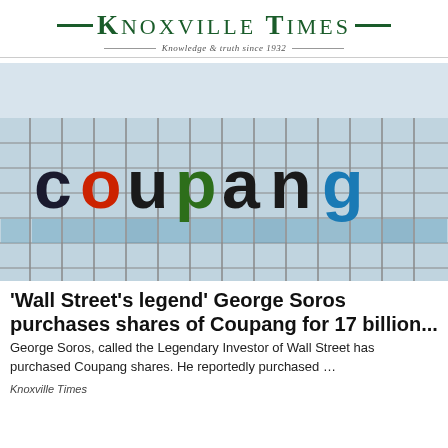KNOXVILLE TIMES — Knowledge & truth since 1932 —
[Figure (photo): Photograph of a building exterior displaying the 'coupang' logo in large multicolored letters (black, red, green, blue) on a glass and steel facade]
'Wall Street's legend' George Soros purchases shares of Coupang for 17 billion...
George Soros, called the Legendary Investor of Wall Street has purchased Coupang shares. He reportedly purchased …
Knoxville Times